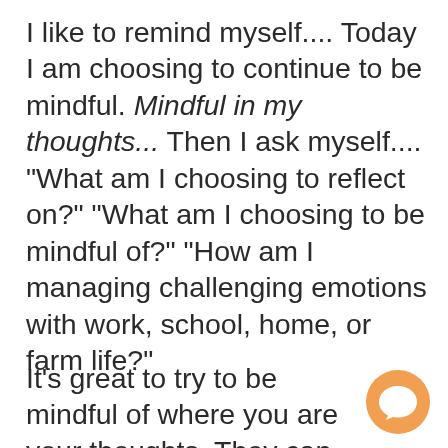I like to remind myself.... Today I am choosing to continue to be mindful. Mindful in my thoughts... Then I ask myself.... "What am I choosing to reflect on?" "What am I choosing to be mindful of?" "How am I managing challenging emotions with work, school, home, or farm life?"
It's great to try to be mindful of where you are your thoughts. They can
[Figure (illustration): Orange circular chat/message bubble icon]